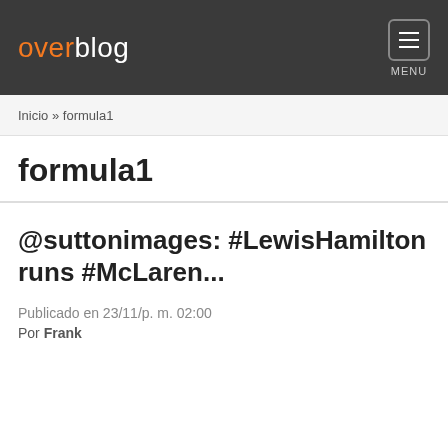overblog  MENU
Inicio » formula1
formula1
@suttonimages: #LewisHamilton runs #McLaren...
Publicado en 23/11/p. m. 02:00
Por Frank